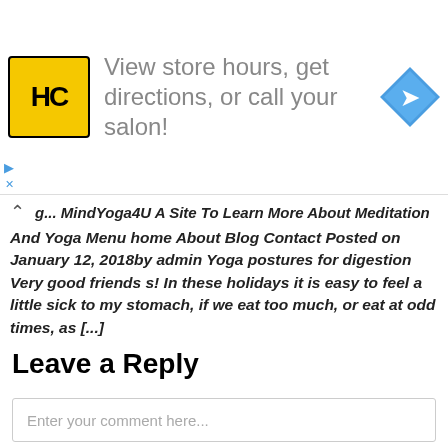[Figure (infographic): Advertisement banner for Hair Club (HC) with yellow logo, text 'View store hours, get directions, or call your salon!' and a blue navigation arrow icon on the right.]
g... MindYoga4U A Site To Learn More About Meditation And Yoga Menu home About Blog Contact Posted on January 12, 2018by admin Yoga postures for digestion Very good friends s! In these holidays it is easy to feel a little sick to my stomach, if we eat too much, or eat at odd times, as [...]
Leave a Reply
Enter your comment here...